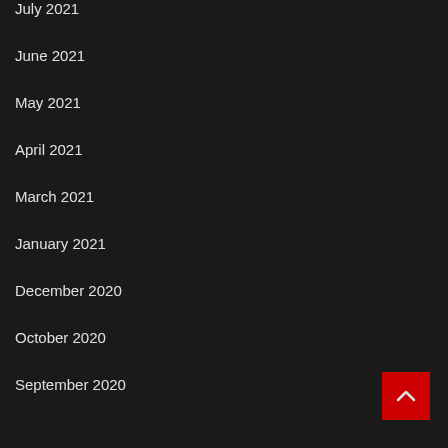July 2021
June 2021
May 2021
April 2021
March 2021
January 2021
December 2020
October 2020
September 2020
[Figure (other): Back to top button — red square with upward chevron arrow]